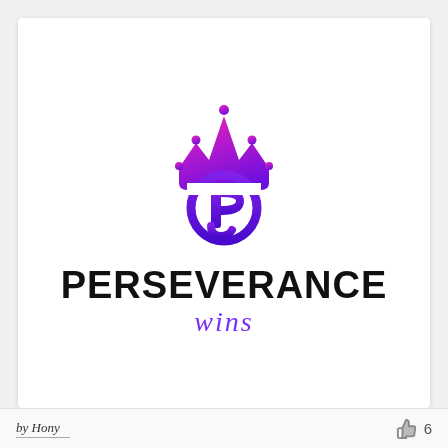[Figure (logo): Perseverance Wins logo: a purple-to-magenta gradient crown icon above a circular letter P, with the text PERSEVERANCE in bold black and 'wins' in italic purple script below.]
by Hony
6